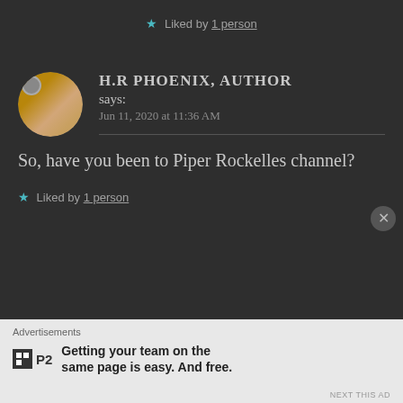★ Liked by 1 person
H.R PHOENIX, AUTHOR says: Jun 11, 2020 at 11:36 AM
So, have you been to Piper Rockelles channel?
★ Liked by 1 person
Advertisements
P2 Getting your team on the same page is easy. And free.